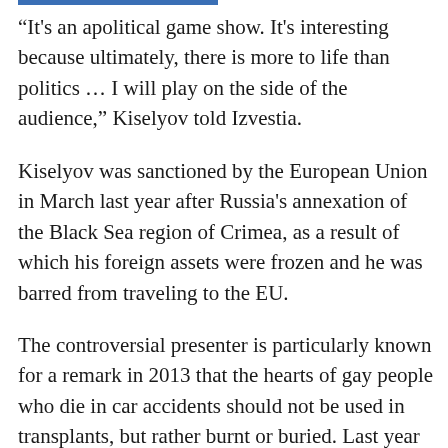“It's an apolitical game show. It's interesting because ultimately, there is more to life than politics … I will play on the side of the audience,” Kiselyov told Izvestia.
Kiselyov was sanctioned by the European Union in March last year after Russia's annexation of the Black Sea region of Crimea, as a result of which his foreign assets were frozen and he was barred from traveling to the EU.
The controversial presenter is particularly known for a remark in 2013 that the hearts of gay people who die in car accidents should not be used in transplants, but rather burnt or buried. Last year he also caused an